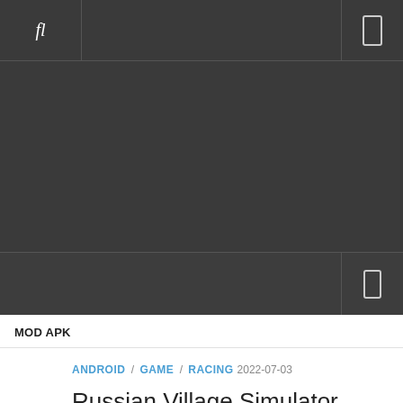fl [search icon] [phone icon]
[Figure (other): Dark banner/advertisement area placeholder]
[phone icon]
MOD APK
ANDROID / GAME / RACING 2022-07-03
Russian Village Simulator 3D(Unlimited Money) + Data Android